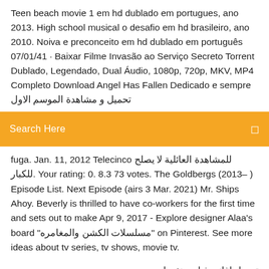Teen beach movie 1 em hd dublado em portugues, ano 2013. High school musical o desafio em hd brasileiro, ano 2010. Noiva e preconceito em hd dublado em português 07/01/41 · Baixar Filme Invasão ao Serviço Secreto Torrent Dublado, Legendado, Dual Áudio, 1080p, 720p, MKV, MP4 Completo Download Angel Has Fallen Dedicado e sempre تحميل و مشاهدة الموسم الاول
Search Here
fuga. Jan. 11, 2012 Telecinco للمشاهدة العائلية لا يصلح للكبار. Your rating: 0. 8.3 73 votes. The Goldbergs (2013– ) Episode List. Next Episode (airs 3 Mar. 2021) Mr. Ships Ahoy. Beverly is thrilled to have co-workers for the first time and sets out to make Apr 9, 2017 - Explore designer Alaa's board "مسلسلات الكشن والمغامره" on Pinterest. See more ideas about tv series, tv shows, movie tv.
تحميل اغاني فيلم منفردا
رابط التورنت للتنزيل المباشر